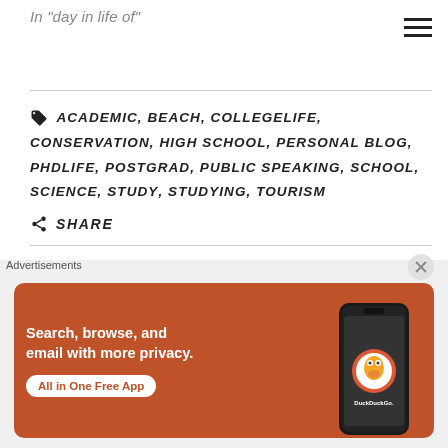In "day in life of"
ACADEMIC, BEACH, COLLEGELIFE, CONSERVATION, HIGH SCHOOL, PERSONAL BLOG, PHDLIFE, POSTGRAD, PUBLIC SPEAKING, SCHOOL, SCIENCE, STUDY, STUDYING, TOURISM
SHARE
[Figure (logo): Pinwheel/windmill style logo made of magenta/pink triangular pieces arranged in a circular pattern]
Advertisements
[Figure (screenshot): DuckDuckGo advertisement banner: orange/red background with text 'Search, browse, and email with more privacy. All in One Free App' and a phone showing the DuckDuckGo app]